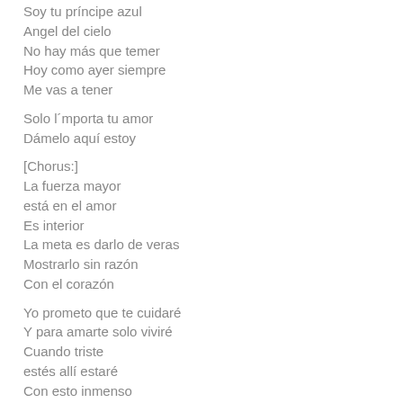Soy tu príncipe azul
Angel del cielo
No hay más que temer
Hoy como ayer siempre
Me vas a tener
Solo l´mporta tu amor
Dámelo aquí estoy
[Chorus:]
La fuerza mayor
está en el amor
Es interior
La meta es darlo de veras
Mostrarlo sin razón
Con el corazón
Yo prometo que te cuidaré
Y para amarte solo viviré
Cuando triste
estés allí estaré
Con esto inmenso